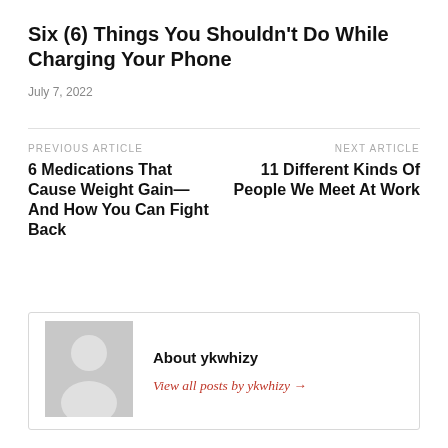Six (6) Things You Shouldn't Do While Charging Your Phone
July 7, 2022
PREVIOUS ARTICLE
6 Medications That Cause Weight Gain—And How You Can Fight Back
NEXT ARTICLE
11 Different Kinds Of People We Meet At Work
About ykwhizy
View all posts by ykwhizy →